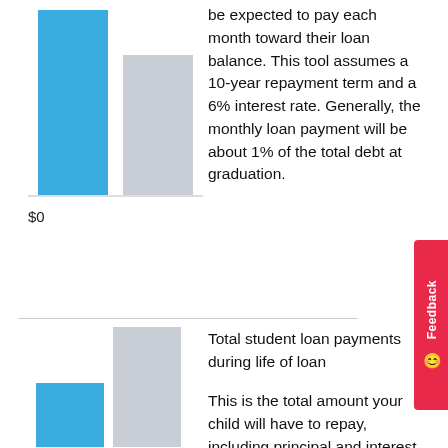[Figure (bar-chart): Partial bar chart showing two bars: a taller blue bar and a shorter gray bar. The bottom label shows $0.]
be expected to pay each month toward their loan balance. This tool assumes a 10-year repayment term and a 6% interest rate. Generally, the monthly loan payment will be about 1% of the total debt at graduation.
$0
Total student loan payments during life of loan
[Figure (bar-chart): Partial bar chart showing two bars: a shorter blue bar and a taller gray bar.]
This is the total amount your child will have to repay, including principal and interest. This tool